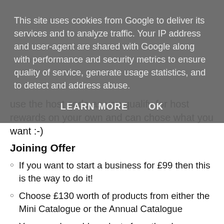This site uses cookies from Google to deliver its services and to analyze traffic. Your IP address and user-agent are shared with Google along with performance and security metrics to ensure quality of service, generate usage statistics, and to detect and address abuse.
LEARN MORE   OK
use the host code as you qualify for host rewards on your own and can chose what you want :-)
Joining Offer
If you want to start a business for £99 then this is the way to do it!
Choose £130 worth of products from either the Mini Catalogue or the Annual Catalogue
You can also add products from the clearance rack and the kits that are available in my on line shop
No obligation to sell, make videos,